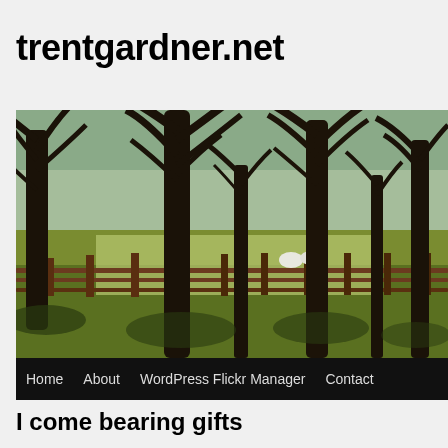trentgardner.net
[Figure (photo): Landscape photo of bare winter trees in a row beside a wooden fence in a green field, with sheep visible in the distance, and a navigation bar below with links: Home, About, WordPress Flickr Manager, Contact]
I come bearing gifts